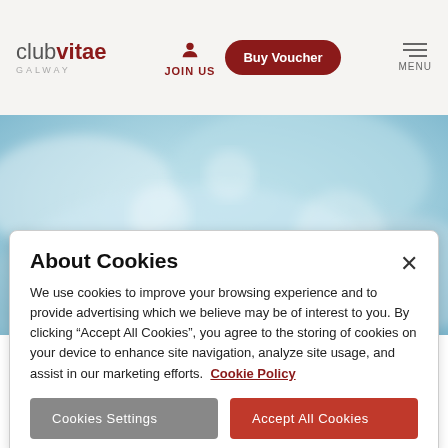club vitae GALWAY | JOIN US | Buy Voucher | MENU
[Figure (photo): Blurred blue water/swimming pool image with a swimming icon (person swimming) in the lower left corner]
About Cookies
We use cookies to improve your browsing experience and to provide advertising which we believe may be of interest to you. By clicking “Accept All Cookies”, you agree to the storing of cookies on your device to enhance site navigation, analyze site usage, and assist in our marketing efforts. Cookie Policy
Cookies Settings
Accept All Cookies